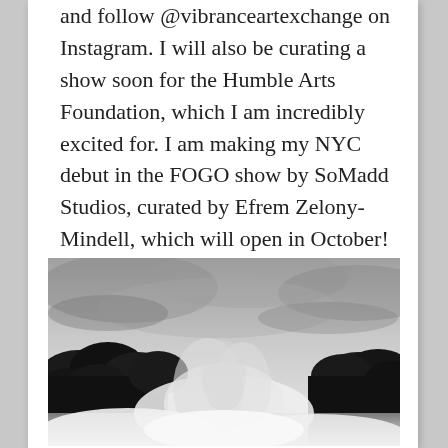and follow @vibranceartexchange on Instagram. I will also be curating a show soon for the Humble Arts Foundation, which I am incredibly excited for. I am making my NYC debut in the FOGO show by SoMadd Studios, curated by Efrem Zelony-Mindell, which will open in October!
[Figure (photo): Black and white photograph of a misty forest landscape, with trees silhouetted against a dramatic cloudy sky, and fog or mist rising through the trees in the center.]